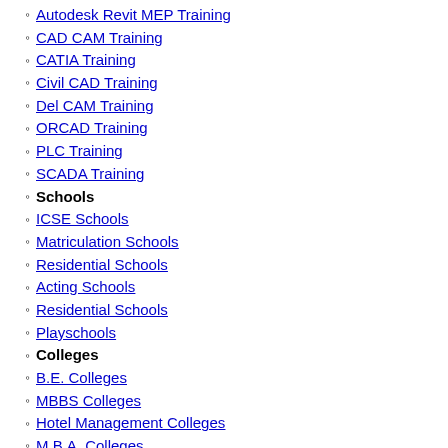Autodesk Revit MEP Training
CAD CAM Training
CATIA Training
Civil CAD Training
Del CAM Training
ORCAD Training
PLC Training
SCADA Training
Schools
ICSE Schools
Matriculation Schools
Residential Schools
Acting Schools
Residential Schools
Playschools
Colleges
B.E. Colleges
MBBS Colleges
Hotel Management Colleges
M.B.A. Colleges
Pharmacy Colleges
Nursing Colleges
Aviation Colleges
Distance Education
B.Tech. Distance Education